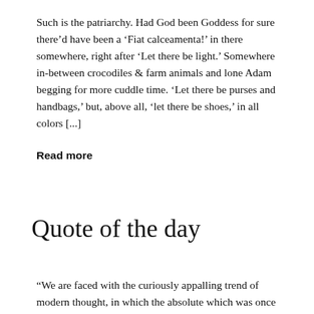Such is the patriarchy. Had God been Goddess for sure there'd have been a 'Fiat calceamenta!' in there somewhere, right after 'Let there be light.' Somewhere in-between crocodiles & farm animals and lone Adam begging for more cuddle time. 'Let there be purses and handbags,' but, above all, 'let there be shoes,' in all colors [...]
Read more
Quote of the day
“We are faced with the curiously appalling trend of modern thought, in which the absolute which was once a